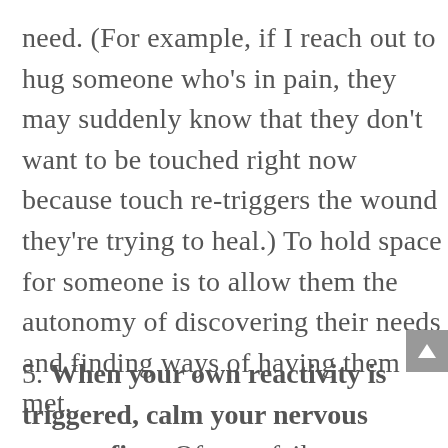need. (For example, if I reach out to hug someone who's in pain, they may suddenly know that they don't want to be touched right now because touch re-triggers the wound they're trying to heal.) To hold space for someone is to allow them the autonomy of discovering their needs and finding ways of having them met.
5. When your own reactivity is triggered, calm your nervous system first. Often, a failure to hold space